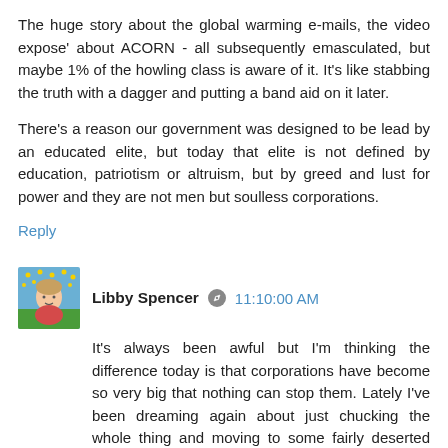The huge story about the global warming e-mails, the video expose' about ACORN - all subsequently emasculated, but maybe 1% of the howling class is aware of it. It's like stabbing the truth with a dagger and putting a band aid on it later.
There's a reason our government was designed to be lead by an educated elite, but today that elite is not defined by education, patriotism or altruism, but by greed and lust for power and they are not men but soulless corporations.
Reply
Libby Spencer  11:10:00 AM
It's always been awful but I'm thinking the difference today is that corporations have become so very big that nothing can stop them. Lately I've been dreaming again about just chucking the whole thing and moving to some fairly deserted beach to live out my golden years in some sort of peace.